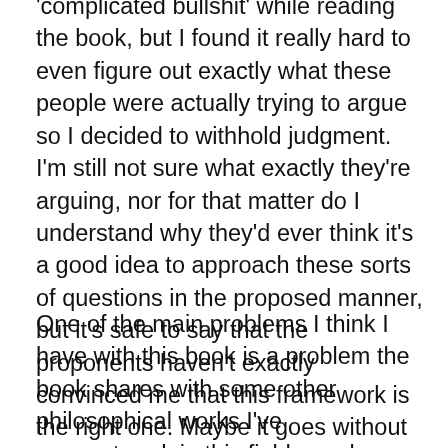'complicated bullshit' while reading the book, but I found it really hard to even figure out exactly what these people were actually trying to argue so I decided to withhold judgment. I'm still not sure what exactly they're arguing, nor for that matter do I understand why they'd ever think it's a good idea to approach these sorts of questions in the proposed manner, but it's safe to say that the proponents haven't exactly convinced me that this framework is the right one. Maybe it goes without saying but I am of course somewhat sympathetic to naturalistic epistemological approaches.
One of the main problems I think I have with this book is a problem the book shares with some other philosophical works I've encountered; in this field people seem to have a tendency not to evaluate ideas or arguments based on how well they explain data, but instead mainly on how